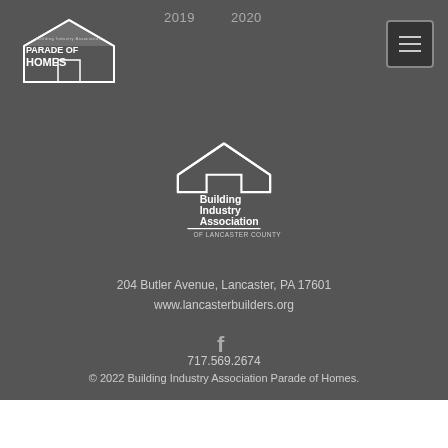[Figure (logo): Building Industry Association Parade of Homes small logo top left]
2019    2020
[Figure (logo): Building Industry Association of Lancaster County centered logo]
204 Butler Avenue, Lancaster, PA 17601
www.lancasterbuilders.org
[Figure (illustration): Facebook icon]
717.569.2674
© 2022 Building Industry Association Parade of Homes.